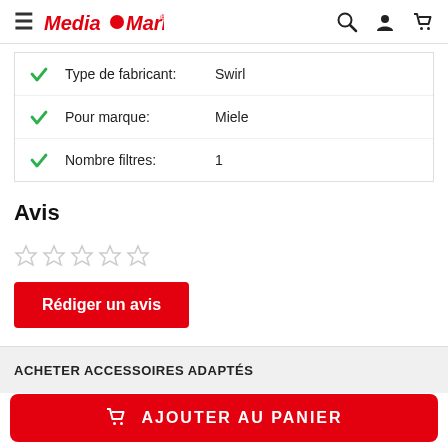Media Markt
Type de fabricant: Swirl
Pour marque: Miele
Nombre filtres: 1
Avis
★★★★★ (empty stars)
Rédiger un avis
ACHETER ACCESSOIRES ADAPTÉS
AJOUTER AU PANIER